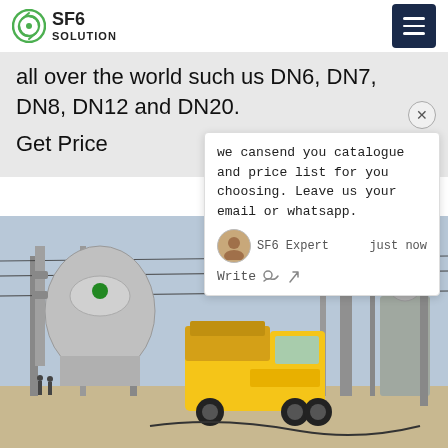SF6 SOLUTION
all over the world such us DN6, DN7, DN8, DN12 and DN20.
Get Price
we cansend you catalogue and price list for you choosing. Leave us your email or whatsapp.
SF6 Expert   just now
Write
[Figure (photo): A yellow Isuzu truck at an electrical substation with high-voltage equipment, transformers, and power lines visible in the background.]